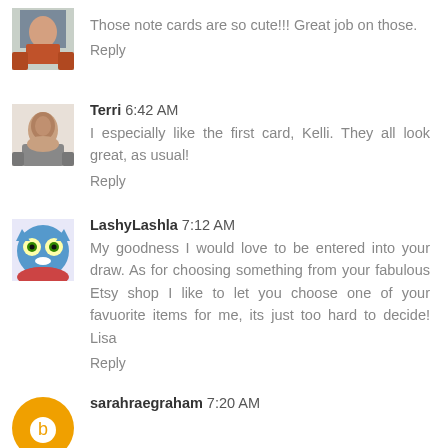Those note cards are so cute!!! Great job on those.
Reply
Terri 6:42 AM
I especially like the first card, Kelli. They all look great, as usual!
Reply
LashyLashla 7:12 AM
My goodness I would love to be entered into your draw. As for choosing something from your fabulous Etsy shop I like to let you choose one of your favuorite items for me, its just too hard to decide! Lisa
Reply
sarahraegraham 7:20 AM